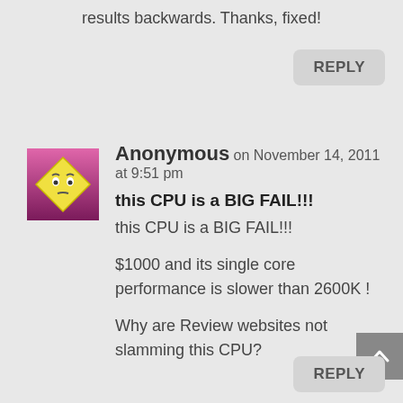results backwards. Thanks, fixed!
REPLY
Anonymous on November 14, 2011 at 9:51 pm
this CPU is a BIG FAIL!!!
this CPU is a BIG FAIL!!!

$1000 and its single core performance is slower than 2600K !

Why are Review websites not slamming this CPU?
REPLY